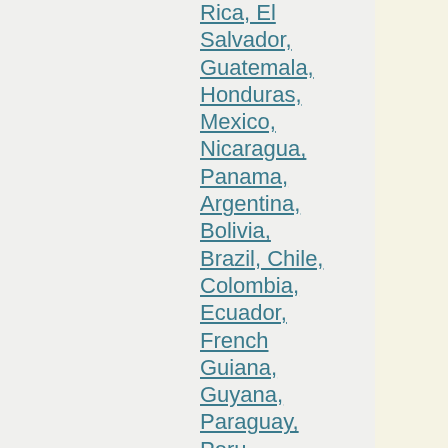Rica, El Salvador, Guatemala, Honduras, Mexico, Nicaragua, Panama, Argentina, Bolivia, Brazil, Chile, Colombia, Ecuador, French Guiana, Guyana, Paraguay, Peru, Suriname, Uruguay, Venezuela, Antigua and Barbuda